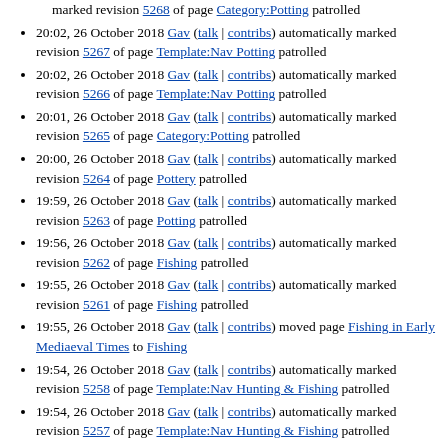marked revision 5268 of page Category:Potting patrolled
20:02, 26 October 2018 Gav (talk | contribs) automatically marked revision 5267 of page Template:Nav Potting patrolled
20:02, 26 October 2018 Gav (talk | contribs) automatically marked revision 5266 of page Template:Nav Potting patrolled
20:01, 26 October 2018 Gav (talk | contribs) automatically marked revision 5265 of page Category:Potting patrolled
20:00, 26 October 2018 Gav (talk | contribs) automatically marked revision 5264 of page Pottery patrolled
19:59, 26 October 2018 Gav (talk | contribs) automatically marked revision 5263 of page Potting patrolled
19:56, 26 October 2018 Gav (talk | contribs) automatically marked revision 5262 of page Fishing patrolled
19:55, 26 October 2018 Gav (talk | contribs) automatically marked revision 5261 of page Fishing patrolled
19:55, 26 October 2018 Gav (talk | contribs) moved page Fishing in Early Mediaeval Times to Fishing
19:54, 26 October 2018 Gav (talk | contribs) automatically marked revision 5258 of page Template:Nav Hunting & Fishing patrolled
19:54, 26 October 2018 Gav (talk | contribs) automatically marked revision 5257 of page Template:Nav Hunting & Fishing patrolled